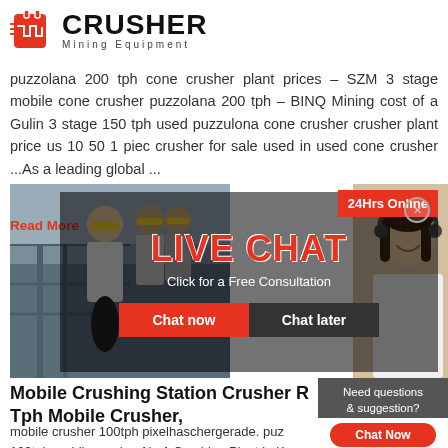[Figure (logo): Crusher Mining Equipment logo with shopping bag icon and bold CRUSHER text]
puzzolana 200 tph cone crusher plant prices – SZM 3 stage mobile cone crusher puzzolana 200 tph – BINQ Mining cost of a Gulin 3 stage 150 tph used puzzulona cone crusher crusher plant price us 10 50 1 piec crusher for sale used in used cone crusher ...As a leading global ...
[Figure (infographic): Live Chat overlay banner with LIVE CHAT heading, Click for a Free Consultation subtitle, Chat now and Chat later buttons, workers in hard hats on left, customer service lady on right]
Read More
Mobile Crushing Station Crusher R Tph Mobile Crusher,
mobile crusher 100tph pixelhaschergerade. puz 100tph mobile crusher No 1 Crushing Plant in K Home Sitemap high cloudy color has the effect o